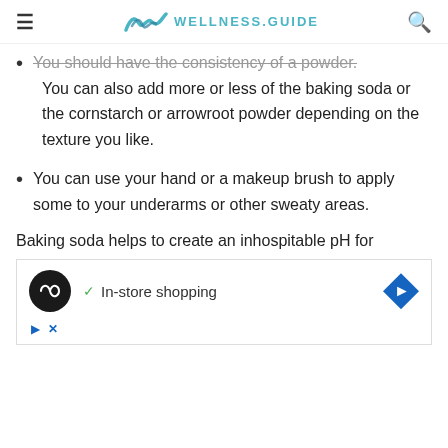WELLNESS.GUIDE
You should have the consistency of a powder. You can also add more or less of the baking soda or the cornstarch or arrowroot powder depending on the texture you like.
You can use your hand or a makeup brush to apply some to your underarms or other sweaty areas.
Baking soda helps to create an inhospitable pH for
[Figure (screenshot): Advertisement showing a circular black logo with infinity-like symbol, a green checkmark with 'In-store shopping' text, and a blue diamond/arrow direction icon. Below are play and close (X) icons.]